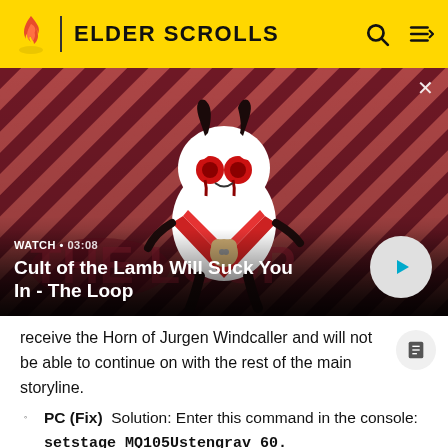ELDER SCROLLS
[Figure (screenshot): Video thumbnail showing cartoon character from Cult of the Lamb game with red diagonal striped background, with overlay text WATCH · 03:08 and title 'Cult of the Lamb Will Suck You In - The Loop' and a play button]
receive the Horn of Jurgen Windcaller and will not be able to continue on with the rest of the main storyline.
PC (Fix)  Solution: Enter this command in the console: setstage MQ105Ustengrav 60.